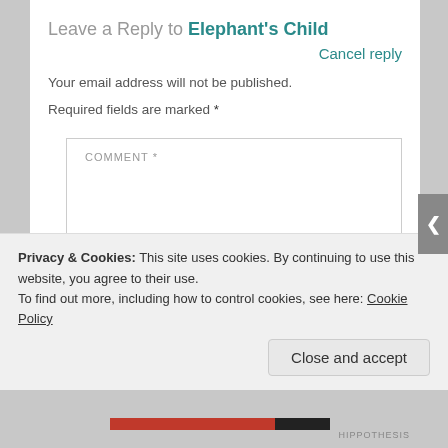Leave a Reply to Elephant's Child
Cancel reply
Your email address will not be published.
Required fields are marked *
COMMENT *
Privacy & Cookies: This site uses cookies. By continuing to use this website, you agree to their use. To find out more, including how to control cookies, see here: Cookie Policy
Close and accept